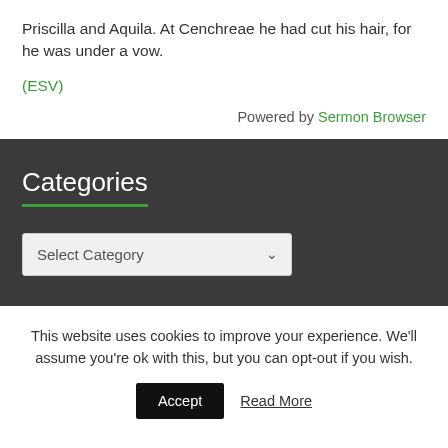Priscilla and Aquila. At Cenchreae he had cut his hair, for he was under a vow.
(ESV)
Powered by Sermon Browser
Categories
Select Category
This website uses cookies to improve your experience. We'll assume you're ok with this, but you can opt-out if you wish.
Accept  Read More